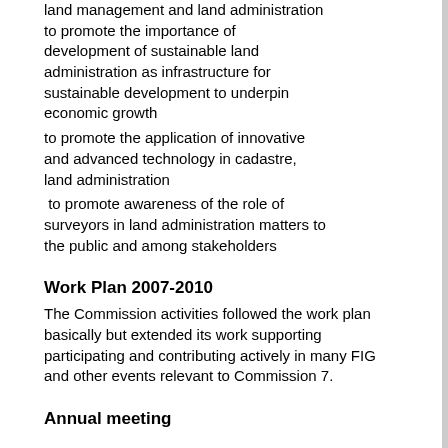land management and land administration to promote the importance of development of sustainable land administration as infrastructure for sustainable development to underpin economic growth
to promote the application of innovative and advanced technology in cadastre, land administration
to promote awareness of the role of surveyors in land administration matters to the public and among stakeholders
Work Plan 2007-2010
The Commission activities followed the work plan basically but extended its work supporting participating and contributing actively in many FIG and other events relevant to Commission 7.
Annual meeting